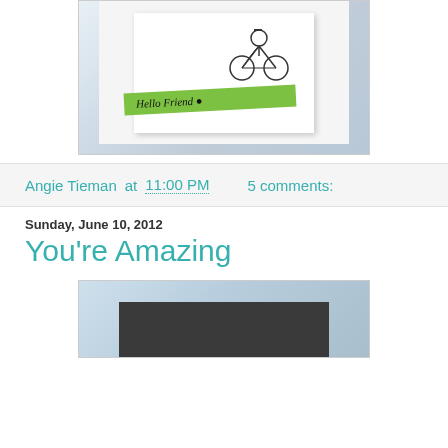[Figure (photo): Photo of a handmade greeting card propped up, featuring a green polka-dot ribbon band with 'Hello Friend' written in script, and a bicycle sketch drawn on white card stock, set against a light blue-grey background.]
Angie Tieman at 11:00 PM     5 comments:
Sunday, June 10, 2012
You're Amazing
[Figure (photo): Partial photo showing a dark grey/charcoal colored handmade card or envelope, partially visible at the bottom of the page, with a light blue background.]